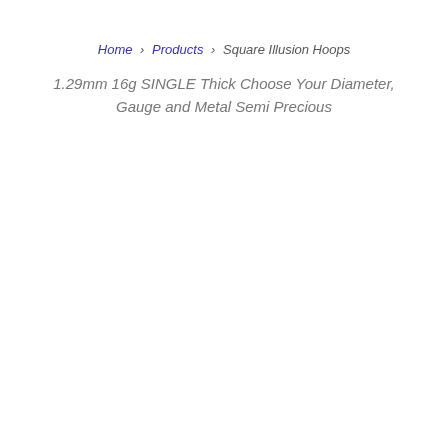Home › Products › Square Illusion Hoops
1.29mm 16g SINGLE Thick Choose Your Diameter, Gauge and Metal Semi Precious